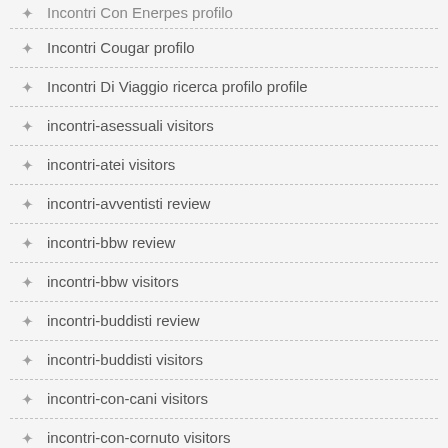Incontri Con Enerpes profilo
Incontri Cougar profilo
Incontri Di Viaggio ricerca profilo profile
incontri-asessuali visitors
incontri-atei visitors
incontri-avventisti review
incontri-bbw review
incontri-bbw visitors
incontri-buddisti review
incontri-buddisti visitors
incontri-con-cani visitors
incontri-con-cornuto visitors